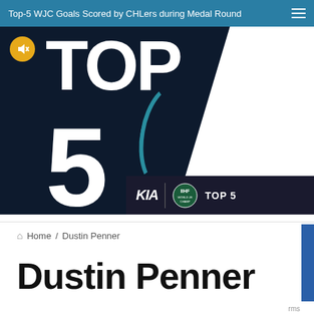Top-5 WJC Goals Scored by CHLers during Medal Round
[Figure (screenshot): Video thumbnail showing 'TOP 5' text in large white bold font on a dark navy background, with a white diagonal slash, teal arc, mute button icon (orange circle with speaker crossed out), and branding bar showing Kia logo, IIHF World Junior Championship logo, and 'TOP 5' label]
Home / Dustin Penner
Dustin Penner